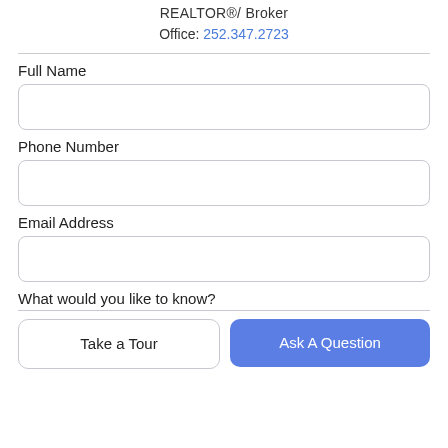REALTOR®/ Broker
Office: 252.347.2723
Full Name
Phone Number
Email Address
What would you like to know?
Take a Tour
Ask A Question